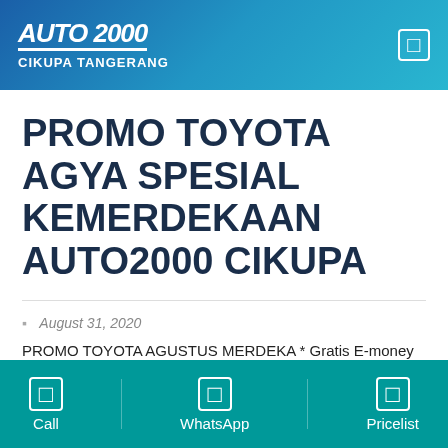AUTO2000 CIKUPA TANGERANG
PROMO TOYOTA AGYA SPESIAL KEMERDEKAAN AUTO2000 CIKUPA
August 31, 2020
PROMO TOYOTA AGUSTUS MERDEKA * Gratis E-money 2.000.0000, – (Khusus Deal Cermat & Kinto) – DP mulai 20%
Call | WhatsApp | Pricelist